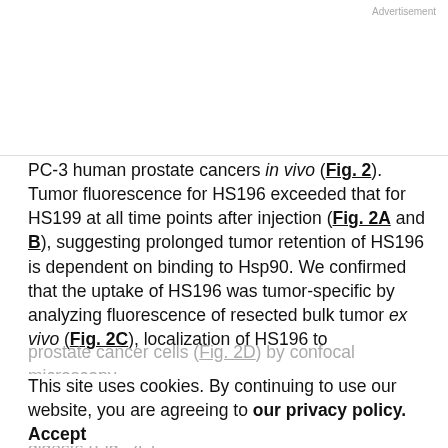Advertisement
PC-3 human prostate cancers in vivo (Fig. 2). Tumor fluorescence for HS196 exceeded that for HS199 at all time points after injection (Fig. 2A and B), suggesting prolonged tumor retention of HS196 is dependent on binding to Hsp90. We confirmed that the uptake of HS196 was tumor-specific by analyzing fluorescence of resected bulk tumor ex vivo (Fig. 2C), localization of HS196 to prostate cancer cells (Fig. 2D) by confocal microscopy, and by flow cytometric analysis of single cells from tumor digests (Fig. 2E).
This site uses cookies. By continuing to use our website, you are agreeing to our privacy policy.
Accept